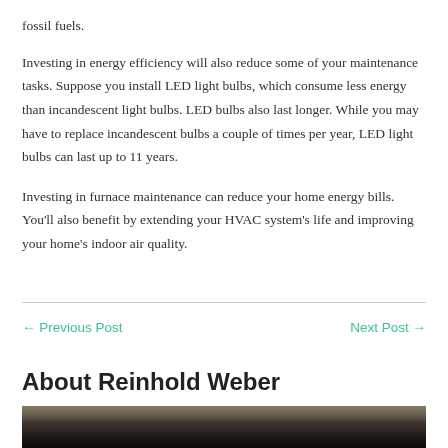fossil fuels.
Investing in energy efficiency will also reduce some of your maintenance tasks. Suppose you install LED light bulbs, which consume less energy than incandescent light bulbs. LED bulbs also last longer. While you may have to replace incandescent bulbs a couple of times per year, LED light bulbs can last up to 11 years.
Investing in furnace maintenance can reduce your home energy bills. You'll also benefit by extending your HVAC system's life and improving your home's indoor air quality.
← Previous Post
Next Post →
About Reinhold Weber
[Figure (photo): Photo of Reinhold Weber, partially visible at bottom of page, dark tones]